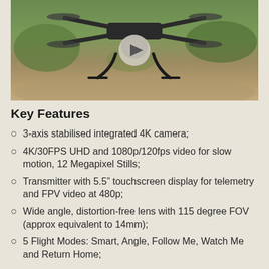[Figure (photo): A drone (quadcopter) with camera gimbal sitting on the ground outdoors on sandy/rocky terrain with green vegetation in the background. A play button overlay is visible in the center of the image.]
Key Features
3-axis stabilised integrated 4K camera;
4K/30FPS UHD and 1080p/120fps video for slow motion, 12 Megapixel Stills;
Transmitter with 5.5” touchscreen display for telemetry and FPV video at 480p;
Wide angle, distortion-free lens with 115 degree FOV (approx equivalent to 14mm);
5 Flight Modes: Smart, Angle, Follow Me, Watch Me and Return Home;